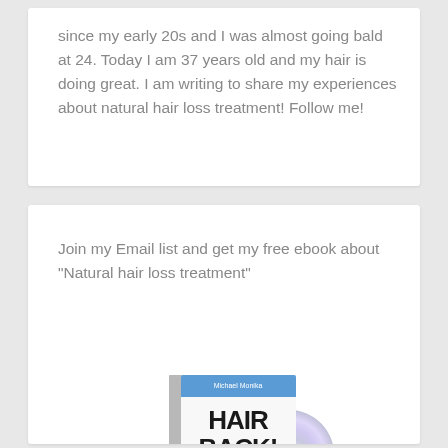since my early 20s and I was almost going bald at 24. Today I am 37 years old and my hair is doing great. I am writing to share my experiences about natural hair loss treatment! Follow me!
Join my Email list and get my free ebook about “Natural hair loss treatment”
[Figure (illustration): Book cover illustration showing a book titled 'HAIR BACK!' by Michael Monika with subtitle 'Learn how I fight my hair loss naturally', featuring before and after photos at the bottom, with a CD disc visible to the right side of the book.]